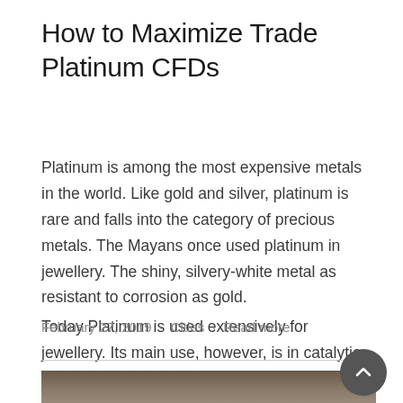How to Maximize Trade Platinum CFDs
Platinum is among the most expensive metals in the world. Like gold and silver, platinum is rare and falls into the category of precious metals. The Mayans once used platinum in jewellery. The shiny, silvery-white metal as resistant to corrosion as gold.
Today Platinum is used extensively for jewellery. Its main use, however, is in catalytic converters for cars, trucks and buses. [...]
February 27, 2019 · Cities · Read more
[Figure (photo): A photograph visible at the bottom of the page showing a person holding something green against a dark background.]